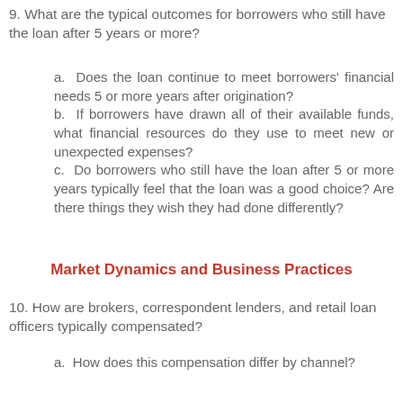9. What are the typical outcomes for borrowers who still have the loan after 5 years or more?
a.  Does the loan continue to meet borrowers' financial needs 5 or more years after origination?
b.  If borrowers have drawn all of their available funds, what financial resources do they use to meet new or unexpected expenses?
c.  Do borrowers who still have the loan after 5 or more years typically feel that the loan was a good choice? Are there things they wish they had done differently?
Market Dynamics and Business Practices
10. How are brokers, correspondent lenders, and retail loan officers typically compensated?
a.  How does this compensation differ by channel?